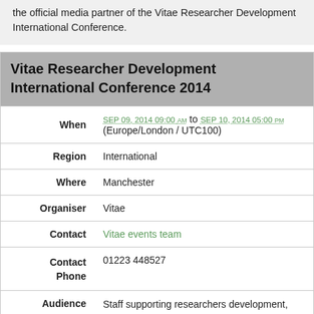the official media partner of the Vitae Researcher Development International Conference.
| Field | Value |
| --- | --- |
| When | SEP 09, 2014 09:00 AM to SEP 10, 2014 05:00 PM (Europe/London / UTC100) |
| Region | International |
| Where | Manchester |
| Organiser | Vitae |
| Contact | Vitae events team |
| Contact Phone | 01223 448527 |
| Audience | Staff supporting researchers development, Non-HE Employers, Supervisors, Research managers, Policy makers and national stakeholders |